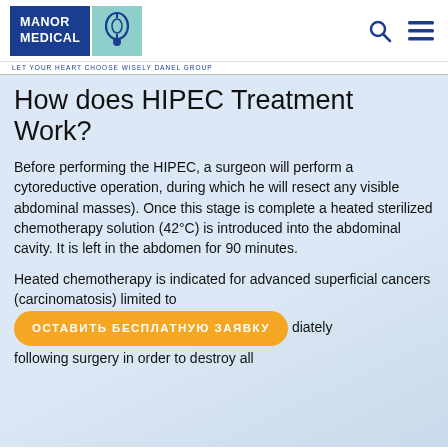MANOR MEDICAL | LET YOUR HEART CHOOSE WISELY DANEL GROUP
How does HIPEC Treatment Work?
Before performing the HIPEC, a surgeon will perform a cytoreductive operation, during which he will resect any visible abdominal masses). Once this stage is complete a heated sterilized chemotherapy solution (42°C) is introduced into the abdominal cavity. It is left in the abdomen for 90 minutes.
Heated chemotherapy is indicated for advanced superficial cancers (carcinomatosis) limited to [ОСТАВИТЬ БЕСПЛАТНУЮ ЗАЯВКУ] diately following surgery in order to destroy all